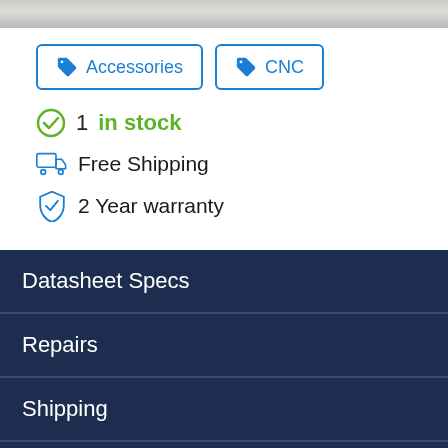[Figure (photo): Partial product photo strip at top of page]
Accessories
CNC
1 in stock
Free Shipping
2 Year warranty
Datasheet Specs
Repairs
Shipping
FAQ